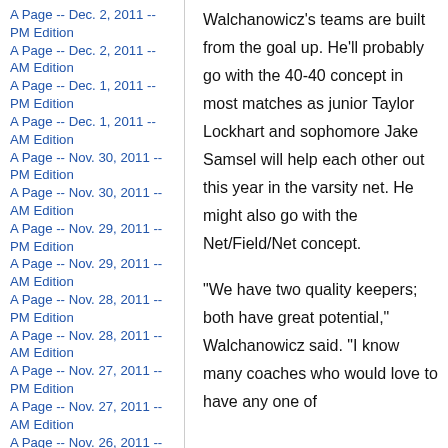A Page -- Dec. 2, 2011 -- PM Edition
A Page -- Dec. 2, 2011 -- AM Edition
A Page -- Dec. 1, 2011 -- PM Edition
A Page -- Dec. 1, 2011 -- AM Edition
A Page -- Nov. 30, 2011 -- PM Edition
A Page -- Nov. 30, 2011 -- AM Edition
A Page -- Nov. 29, 2011 -- PM Edition
A Page -- Nov. 29, 2011 -- AM Edition
A Page -- Nov. 28, 2011 -- PM Edition
A Page -- Nov. 28, 2011 -- AM Edition
A Page -- Nov. 27, 2011 -- PM Edition
A Page -- Nov. 27, 2011 -- AM Edition
A Page -- Nov. 26, 2011 --
Walchanowicz’s teams are built from the goal up. He’ll probably go with the 40-40 concept in most matches as junior Taylor Lockhart and sophomore Jake Samsel will help each other out this year in the varsity net. He might also go with the Net/Field/Net concept.
“We have two quality keepers; both have great potential,” Walchanowicz said. “I know many coaches who would love to have any one of